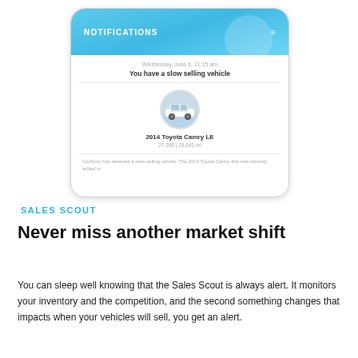[Figure (screenshot): Mobile app notification screen showing 'NOTIFICATIONS' header in blue, with a notification dated Wednesday, June 6, 11:15 am reading 'You have a slow selling vehicle', displaying a 2014 Toyota Camry LE with details 27,398 | 29,041 mi, and a CarStory alert description below.]
SALES SCOUT
Never miss another market shift
You can sleep well knowing that the Sales Scout is always alert. It monitors your inventory and the competition, and the second something changes that impacts when your vehicles will sell, you get an alert.